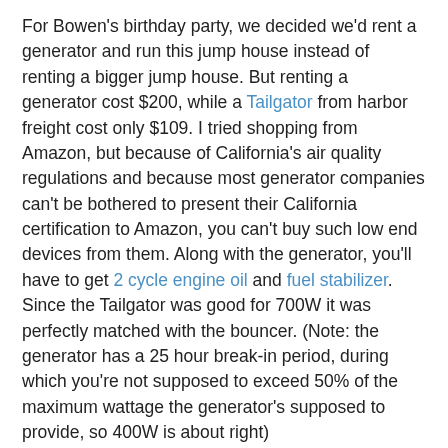For Bowen's birthday party, we decided we'd rent a generator and run this jump house instead of renting a bigger jump house. But renting a generator cost $200, while a Tailgator from harbor freight cost only $109. I tried shopping from Amazon, but because of California's air quality regulations and because most generator companies can't be bothered to present their California certification to Amazon, you can't buy such low end devices from them. Along with the generator, you'll have to get 2 cycle engine oil and fuel stabilizer. Since the Tailgator was good for 700W it was perfectly matched with the bouncer. (Note: the generator has a 25 hour break-in period, during which you're not supposed to exceed 50% of the maximum wattage the generator's supposed to provide, so 400W is about right)
The generator requires more maintenance than you would expect: you're supposed to run it every 3 months for at least 15 minutes, but since one use of it has already paid for itself I'm not too concerned about the longevity.
Most kid's toys get played once or twice and then are left to languish. This one gets used over and over, so I recommend